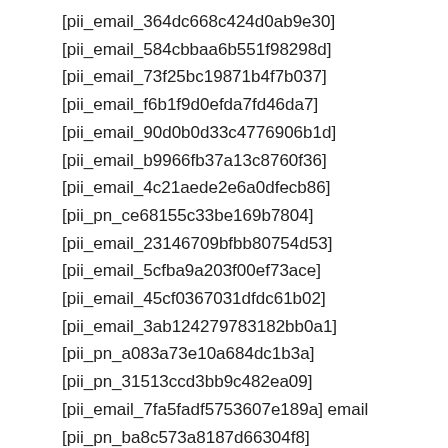[pii_email_364dc668c424d0ab9e30]
[pii_email_584cbbaa6b551f98298d]
[pii_email_73f25bc19871b4f7b037]
[pii_email_f6b1f9d0efda7fd46da7]
[pii_email_90d0b0d33c4776906b1d]
[pii_email_b9966fb37a13c8760f36]
[pii_email_4c21aede2e6a0dfecb86]
[pii_pn_ce68155c33be169b7804]
[pii_email_23146709bfbb80754d53]
[pii_email_5cfba9a203f00ef73ace]
[pii_email_45cf0367031dfdc61b02]
[pii_email_3ab124279783182bb0a1]
[pii_pn_a083a73e10a684dc1b3a]
[pii_pn_31513ccd3bb9c482ea09]
[pii_email_7fa5fadf5753607e189a] email
[pii_pn_ba8c573a8187d66304f8]